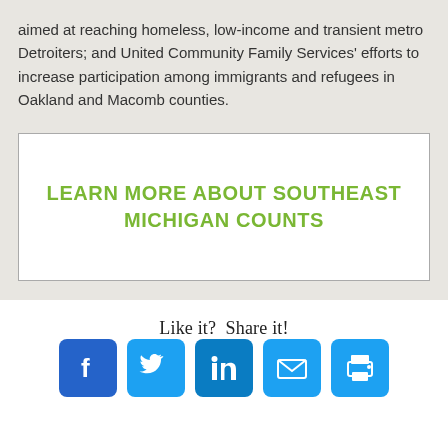aimed at reaching homeless, low-income and transient metro Detroiters; and United Community Family Services' efforts to increase participation among immigrants and refugees in Oakland and Macomb counties.
LEARN MORE ABOUT SOUTHEAST MICHIGAN COUNTS
Like it?  Share it!
[Figure (infographic): Social media share icons: Facebook, Twitter, LinkedIn, Email, Print]